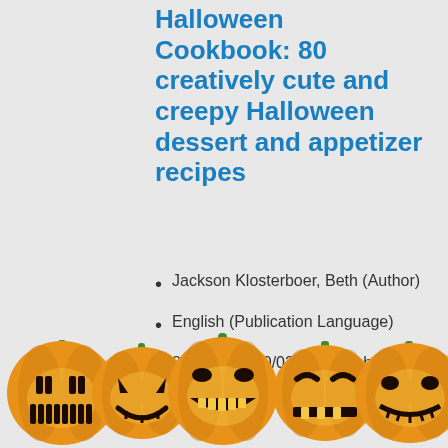Halloween Cookbook: 80 creatively cute and creepy Halloween dessert and appetizer recipes
Jackson Klosterboer, Beth (Author)
English (Publication Language)
80 Pages - 10/02/2021 (Publication Date) - Independently published (Publisher)
[Figure (illustration): Row of five carved Halloween jack-o-lantern pumpkins with glowing faces, orange pumpkins with green stems at the bottom of the page]